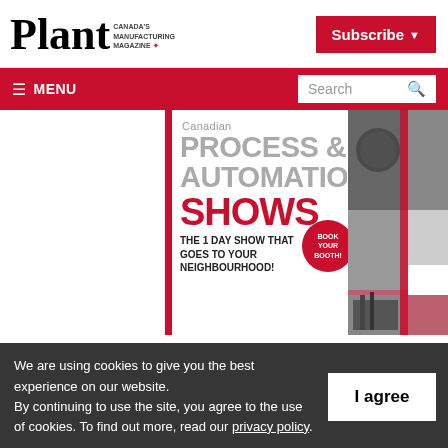Plant — Canada's Manufacturing Magazine
[Figure (screenshot): Plant magazine website screenshot showing the Plant logo, Subscribe button, hamburger menu, search box, and a Canadian Process & Automation Shows advertisement with 'Book Your Booth!' circle and text 'THE 1 DAY SHOW THAT GOES TO YOUR NEIGHBOURHOOD!']
We are using cookies to give you the best experience on our website. By continuing to use the site, you agree to the use of cookies. To find out more, read our privacy policy.